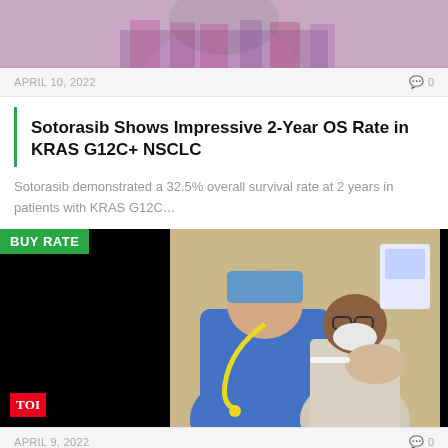[Figure (photo): Partial photo of a person from the chin down, wearing a colorful patterned top, cropped at the top of the page.]
APRIL 10, 2022   0
Sotorasib Shows Impressive 2-Year OS Rate in KRAS G12C+ NSCLC
Sotorasib demonstrated a 32.5% overall survival rate at 2 years in patients with KRAS G12C…
[Figure (photo): Photo showing a healthcare worker in blue scrubs and a yellow stethoscope administering a vaccine injection to a seated patient wearing a white mask and glasses. The image has black sections on the left and right. A green 'BUY RATE' badge is in the top-left corner, and a red TOI logo appears in the bottom-left.]
APRIL 9, 2022   0